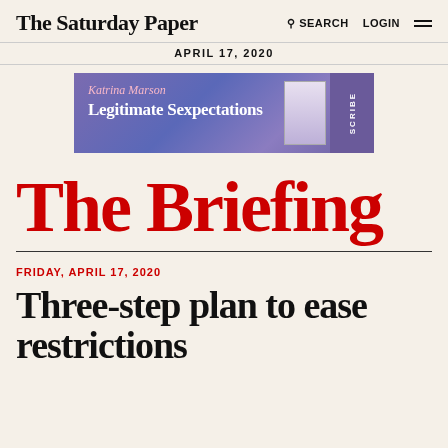The Saturday Paper  SEARCH  LOGIN
APRIL 17, 2020
[Figure (illustration): Advertisement banner for 'Legitimate Sexpectations' by Katrina Marson, published by Scribe. Purple/blue gradient background with book cover image on right.]
The Briefing
FRIDAY, APRIL 17, 2020
Three-step plan to ease restrictions